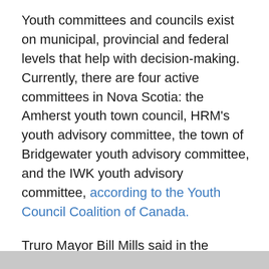Youth committees and councils exist on municipal, provincial and federal levels that help with decision-making. Currently, there are four active committees in Nova Scotia: the Amherst youth town council, HRM's youth advisory committee, the town of Bridgewater youth advisory committee, and the IWK youth advisory committee, according to the Youth Council Coalition of Canada.
Truro Mayor Bill Mills said in the council meeting that the town tried to initiate a youth council years ago, but it's no longer active.